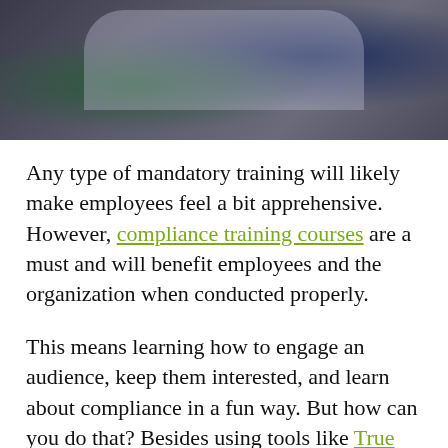[Figure (photo): Two people in business attire sitting together, one with a laptop open, photographed from the torso up against a blurred background.]
Any type of mandatory training will likely make employees feel a bit apprehensive. However, compliance training courses are a must and will benefit employees and the organization when conducted properly.
This means learning how to engage an audience, keep them interested, and learn about compliance in a fun way. But how can you do that? Besides using tools like True Office Learning, we rounded up a few excellent compliance training examples to use.